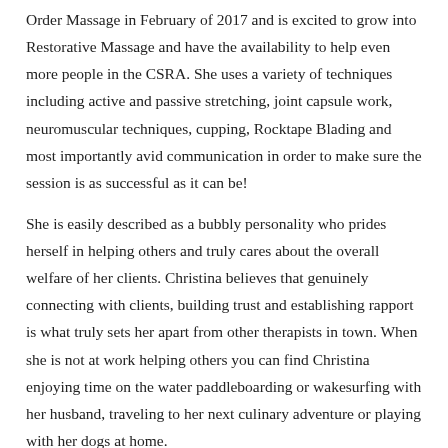Order Massage in February of 2017 and is excited to grow into Restorative Massage and have the availability to help even more people in the CSRA.  She uses a variety of techniques including active and passive stretching, joint capsule work, neuromuscular techniques, cupping, Rocktape Blading and most importantly avid communication in order to make sure the session is as successful as it can be!
She is easily described as a bubbly personality who prides herself in helping others and truly cares about the overall welfare of her clients.  Christina believes that genuinely connecting with clients, building trust and establishing rapport is what truly sets her apart from other therapists in town.  When she is not at work helping others you can find Christina enjoying time on the water paddleboarding or wakesurfing with her husband, traveling to her next culinary adventure or playing with her dogs at home.